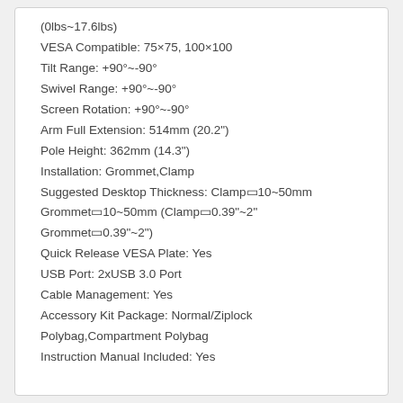(0lbs~17.6lbs)
VESA Compatible: 75×75, 100×100
Tilt Range: +90°~-90°
Swivel Range: +90°~-90°
Screen Rotation: +90°~-90°
Arm Full Extension: 514mm (20.2")
Pole Height: 362mm (14.3")
Installation: Grommet,Clamp
Suggested Desktop Thickness: Clamp：10~50mm Grommet：10~50mm (Clamp：0.39"~2" Grommet：0.39"~2")
Quick Release VESA Plate: Yes
USB Port: 2xUSB 3.0 Port
Cable Management: Yes
Accessory Kit Package: Normal/Ziplock Polybag,Compartment Polybag
Instruction Manual Included: Yes